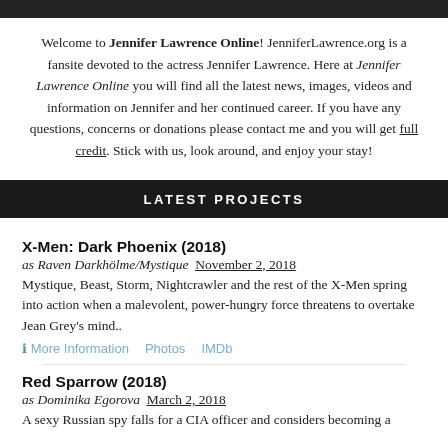Welcome to Jennifer Lawrence Online! JenniferLawrence.org is a fansite devoted to the actress Jennifer Lawrence. Here at Jennifer Lawrence Online you will find all the latest news, images, videos and information on Jennifer and her continued career. If you have any questions, concerns or donations please contact me and you will get full credit. Stick with us, look around, and enjoy your stay!
LATEST PROJECTS
X-Men: Dark Phoenix (2018)
as Raven Darkhölme/Mystique  November 2, 2018
Mystique, Beast, Storm, Nightcrawler and the rest of the X-Men spring into action when a malevolent, power-hungry force threatens to overtake Jean Grey's mind..
ℹ More Information   Photos   IMDb
Red Sparrow (2018)
as Dominika Egorova  March 2, 2018
A sexy Russian spy falls for a CIA officer and considers becoming a